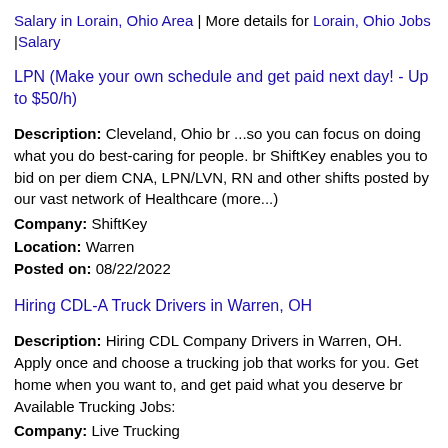Salary in Lorain, Ohio Area | More details for Lorain, Ohio Jobs |Salary
LPN (Make your own schedule and get paid next day! - Up to $50/h)
Description: Cleveland, Ohio br ...so you can focus on doing what you do best-caring for people. br ShiftKey enables you to bid on per diem CNA, LPN/LVN, RN and other shifts posted by our vast network of Healthcare (more...)
Company: ShiftKey
Location: Warren
Posted on: 08/22/2022
Hiring CDL-A Truck Drivers in Warren, OH
Description: Hiring CDL Company Drivers in Warren, OH. Apply once and choose a trucking job that works for you. Get home when you want to, and get paid what you deserve br Available Trucking Jobs:
Company: Live Trucking
Location: Warren
Posted on: 08/22/2022
Travel Nurse RN - CVICU - $2,470 per week
Description: Skyline Med Staff Nursing is seeking a travel nurse RN